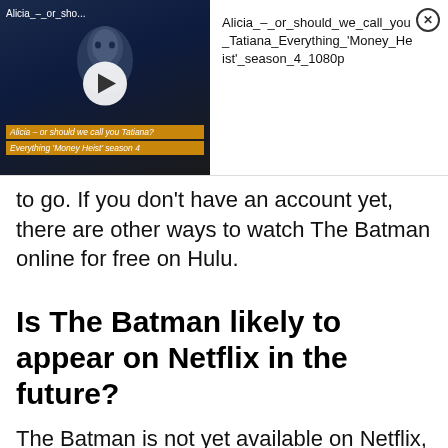[Figure (screenshot): Video popup showing a dark scene with a woman's face, play button, subtitle overlay reading 'Alicia – or should we call you Tatiana? Everything Money Heist season 4', with filename text on the right: Alicia_–_or_should_we_call_you_Tatiana_Everything_'Money_Heist'_season_4_1080p and a close (X) button]
to go. If you don't have an account yet, there are other ways to watch The Batman online for free on Hulu.
Is The Batman likely to appear on Netflix in the future?
The Batman is not yet available on Netflix, as far